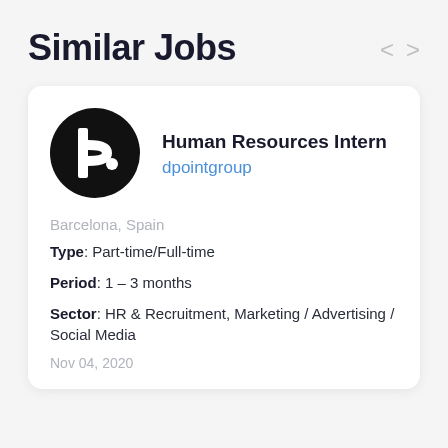Similar Jobs
[Figure (logo): dpointgroup circular logo — black circle with a white stylized letter d and a white dot]
Human Resources Intern
dpointgroup
Barcelona, Spain
Type: Part-time/Full-time
Period: 1 – 3 months
Sector: HR & Recruitment, Marketing / Advertising / Social Media
Nov 04, 2020